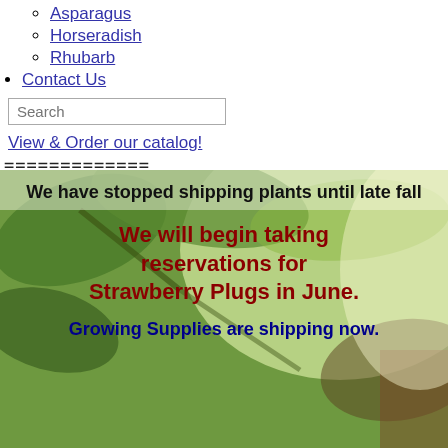Asparagus
Horseradish
Rhubarb
Contact Us
Search
View & Order our catalog!
=============
[Figure (photo): Background photo of green leaves/plant foliage with overlaid text announcements about shipping and reservations]
We have stopped shipping plants until late fall
We will begin taking reservations for Strawberry Plugs in June.
Growing Supplies are shipping now.